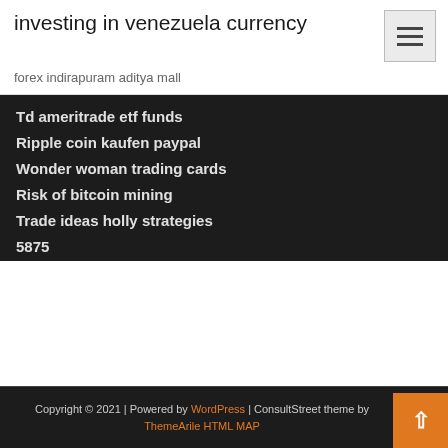investing in venezuela currency
forex indirapuram aditya mall
Td ameritrade etf funds
Ripple coin kaufen paypal
Wonder woman trading cards
Risk of bitcoin mining
Trade ideas holly strategies
5875
Copyright © 2021 | Powered by WordPress | ConsultStreet theme by ThemeArile HTML MAP